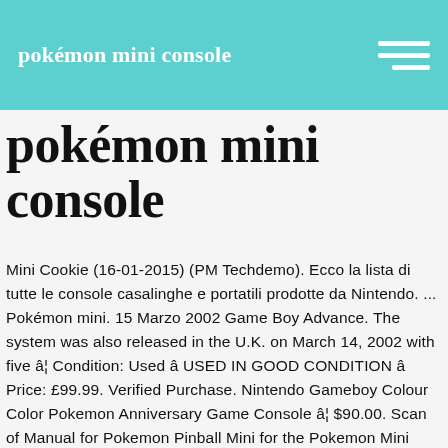pokémon mini console
pokémon mini console
Mini Cookie (16-01-2015) (PM Techdemo). Ecco la lista di tutte le console casalinghe e portatili prodotte da Nintendo. ... Pokémon mini. 15 Marzo 2002 Game Boy Advance. The system was also released in the U.K. on March 14, 2002 with five â¦ Condition: Used â USED IN GOOD CONDITION â Price: £99.99. Verified Purchase. Nintendo Gameboy Colour Color Pokemon Anniversary Game Console â¦ $90.00. Scan of Manual for Pokemon Pinball Mini for the Pokemon Mini console - US version of the manual. By Shahzad Sahaib with 0 comments. PokeSnake (16-01-2005) Added Apr 27, 2007